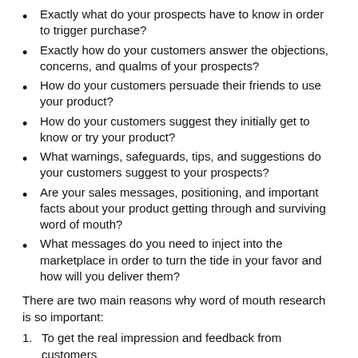Exactly what do your prospects have to know in order to trigger purchase?
Exactly how do your customers answer the objections, concerns, and qualms of your prospects?
How do your customers persuade their friends to use your product?
How do your customers suggest they initially get to know or try your product?
What warnings, safeguards, tips, and suggestions do your customers suggest to your prospects?
Are your sales messages, positioning, and important facts about your product getting through and surviving word of mouth?
What messages do you need to inject into the marketplace in order to turn the tide in your favor and how will you deliver them?
There are two main reasons why word of mouth research is so important:
To get the real impression and feedback from customers